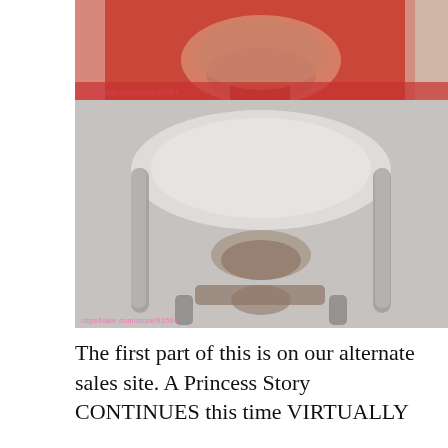[Figure (photo): Two stacked photos. Top photo shows a person in a red outfit seated on a red chair, view from behind. Bottom photo shows a chair from below with a person and a dog underneath.]
The first part of this is on our alternate sales site. A Princess Story CONTINUES this time VIRTUALLY